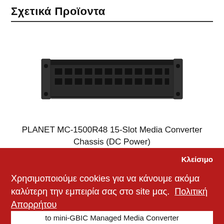Σχετικά Προϊοντα
[Figure (photo): Photo of PLANET MC-1500R48 15-Slot Media Converter Chassis rack unit device, black colored hardware]
PLANET MC-1500R48 15-Slot Media Converter Chassis (DC Power)
Κλείσιμο
Χρησιμοποιούμε cookies για να κάνουμε ακόμα καλύτερη την εμπειρία σας στο site μας.  Πολιτική Απορρήτου
Επιλογές
Αποδοχή
to mini-GBIC Managed Media Converter